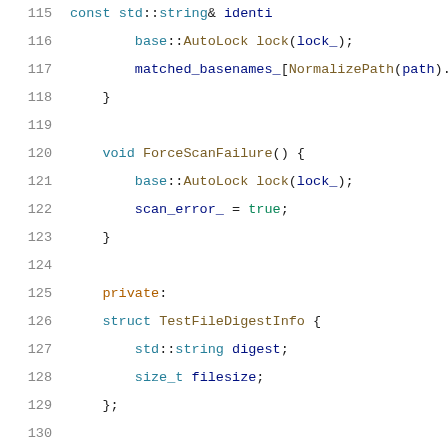[Figure (screenshot): Source code snippet in C++, lines 115-136, showing class methods ForceScanFailure(), private struct TestFileDigestInfo, bool member, and map declarations with syntax highlighting on a white background.]